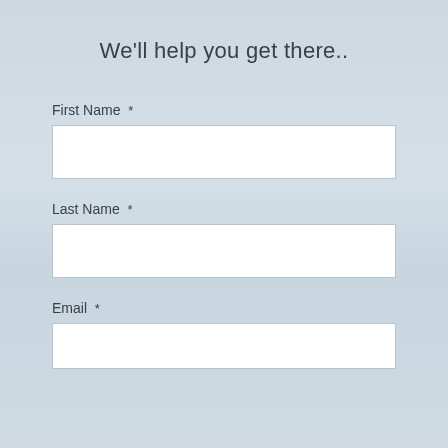We'll help you get there..
First Name *
Last Name *
Email *